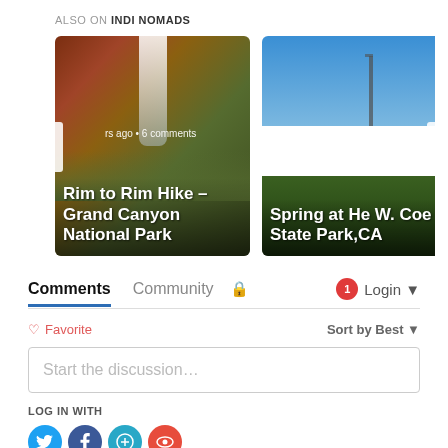ALSO ON INDI NOMADS
[Figure (photo): Two article cards in a carousel. Left card: canyon with waterfall, title 'Rim to Rim Hike – Grand Canyon National Park', meta 'rs ago • 6 comments'. Right card: spring park scene, title 'Spring at He W. Coe State Park,CA', meta '6 years ago •'. Navigation arrows on left and right sides.]
Comments   Community   🔒   1   Login
♡ Favorite   Sort by Best
Start the discussion…
LOG IN WITH